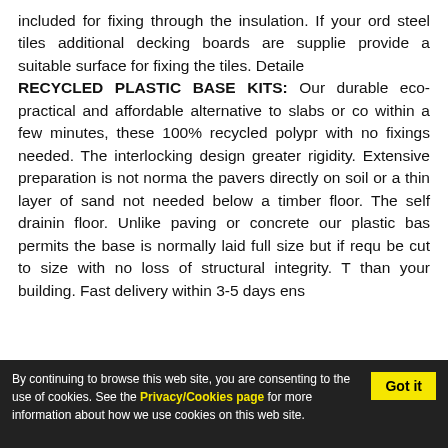included for fixing through the insulation. If your order includes steel tiles additional decking boards are supplied to provide a suitable surface for fixing the tiles. Detailed
RECYCLED PLASTIC BASE KITS: Our durable eco-practical and affordable alternative to slabs or concrete. Erected within a few minutes, these 100% recycled polypropylene grid with no fixings needed. The interlocking design gives greater rigidity. Extensive preparation is not normally required place the pavers directly on soil or a thin layer of sand and is not needed below a timber floor. The self draining floor. Unlike paving or concrete our plastic base permits the base is normally laid full size but if required can be cut to size with no loss of structural integrity. The base than your building. Fast delivery within 3-5 days ensures
By continuing to browse this web site, you are consenting to the use of cookies. See the Privacy/Cookies page for more information about how we use cookies on this web site.